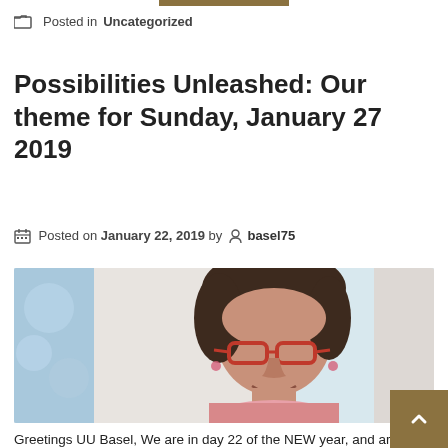Posted in Uncategorized
Possibilities Unleashed: Our theme for Sunday, January 27 2019
Posted on January 22, 2019 by basel75
[Figure (photo): Portrait photo of a woman with short dark brown hair wearing red-framed glasses, smiling, with a blue decorative background on the left side.]
Greetings UU Basel, We are in day 22 of the NEW year, and are off and running.  January is for me about planning the New Year...